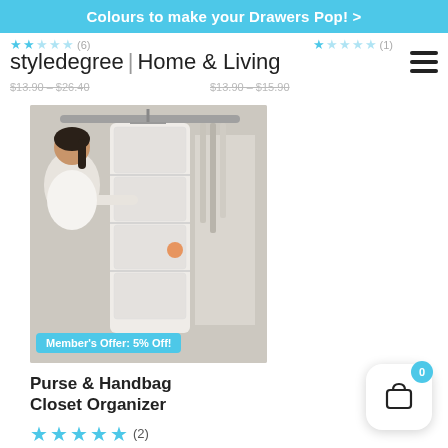Colours to make your Drawers Pop! >
[Figure (logo): styledegree | Home & Living logo with hamburger menu icon]
$13.90 – $26.40
$13.90 – $15.90
[Figure (photo): Woman accessing a hanging closet organizer with multiple clear pockets in a wardrobe]
Member's Offer: 5% Off!
Purse & Handbag Closet Organizer
★★★★★ (2)
$24.90